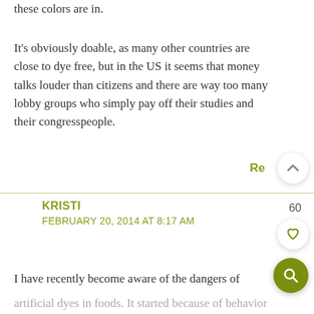these colors are in.
It's obviously doable, as many other countries are close to dye free, but in the US it seems that money talks louder than citizens and there are way too many lobby groups who simply pay off their studies and their congresspeople.
Re
KRISTI
FEBRUARY 20, 2014 AT 8:17 AM
60
I have recently become aware of the dangers of artificial dyes in foods. It started because of behavior problems in one of my children. But I